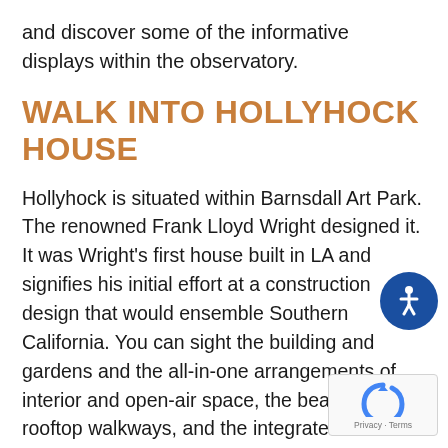and discover some of the informative displays within the observatory.
WALK INTO HOLLYHOCK HOUSE
Hollyhock is situated within Barnsdall Art Park. The renowned Frank Lloyd Wright designed it. It was Wright's first house built in LA and signifies his initial effort at a construction design that would ensemble Southern California. You can sight the building and gardens and the all-in-one arrangements of interior and open-air space, the beautiful rooftop walkways, and the integrated hollyhock flowers from which the building acquired its title.